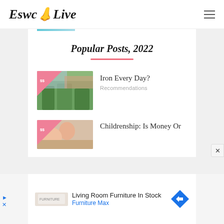EswcLive
Popular Posts, 2022
[Figure (photo): Thumbnail image of people at a market with plants, with a pink triangle badge overlay]
Iron Every Day?
Recommendations
[Figure (photo): Thumbnail image of a woman and child smiling, with a pink triangle badge overlay]
Childrenship: Is Money Or
Living Room Furniture In Stock
Furniture Max